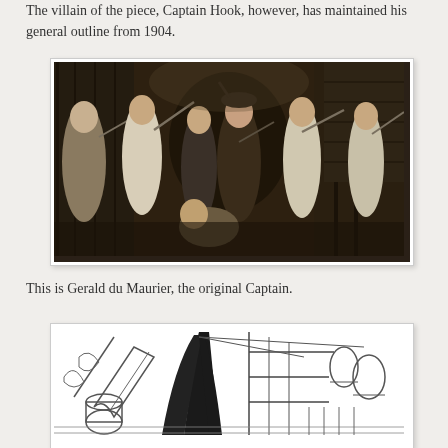The villain of the piece, Captain Hook, however, has maintained his general outline from 1904.
[Figure (photo): Black and white historical photograph showing a group of actors in a stage fight scene, with swords and dramatic poses, in what appears to be a production of Peter Pan.]
This is Gerald du Maurier, the original Captain.
[Figure (illustration): Black and white ink sketch illustration showing a scene with a ship or pirate setting, featuring a tall dark triangular shape and various objects on what appears to be a ship deck.]